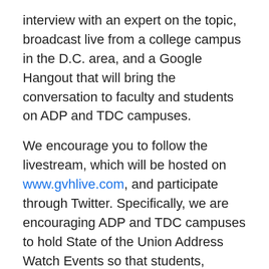interview with an expert on the topic, broadcast live from a college campus in the D.C. area, and a Google Hangout that will bring the conversation to faculty and students on ADP and TDC campuses.
We encourage you to follow the livestream, which will be hosted on www.gvhlive.com, and participate through Twitter. Specifically, we are encouraging ADP and TDC campuses to hold State of the Union Address Watch Events so that students, faculty, staff and community members can discuss together their perceptions of the state of our nation and the work we need to do as informed, engaged citizens for our democracy. Livestream events will begin at 7 p.m. Eastern on Tuesday, January 20th and end at approximately 11 p.m. Eastern.
More information will be forthcoming.